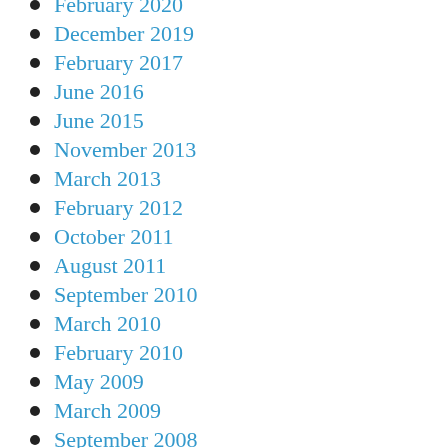February 2020
December 2019
February 2017
June 2016
June 2015
November 2013
March 2013
February 2012
October 2011
August 2011
September 2010
March 2010
February 2010
May 2009
March 2009
September 2008
July 2008